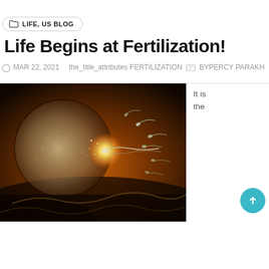LIFE, US BLOG
Life Begins at Fertilization!
MAR 22, 2021   the_title_attributes FERTILIZATION  BY PERCY PARAKH
[Figure (photo): Scientific illustration of fertilization: a large spherical egg cell being penetrated by a sperm cell, with other sperm cells swimming nearby, set against a dramatic glowing orange and dark background.]
It is the